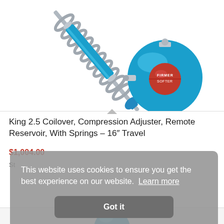[Figure (photo): Photo of a King 2.5 Coilover shock absorber with compression adjuster and remote reservoir — features a blue anodized body with silver coil spring and a red adjustment knob on the blue spherical remote reservoir.]
King 2.5 Coilover, Compression Adjuster, Remote Reservoir, With Springs – 16″ Travel
$1,004.00
St
This website uses cookies to ensure you get the best experience on our website.  Learn more
Got it
[Figure (photo): Bottom of page showing partial view of another product image — a blue circular component partially visible.]